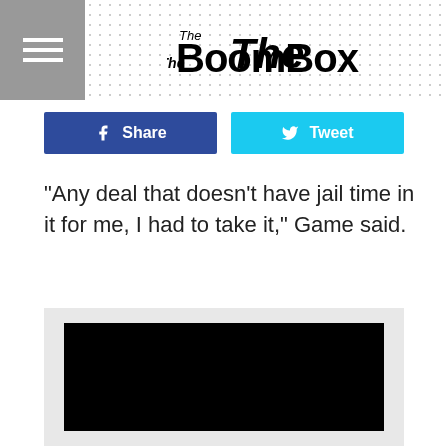The BoomBox
[Figure (screenshot): Facebook Share button (dark blue) and Twitter Tweet button (light blue)]
"Any deal that doesn't have jail time in it for me, I had to take it," Game said.
[Figure (photo): Embedded video player with black screen]